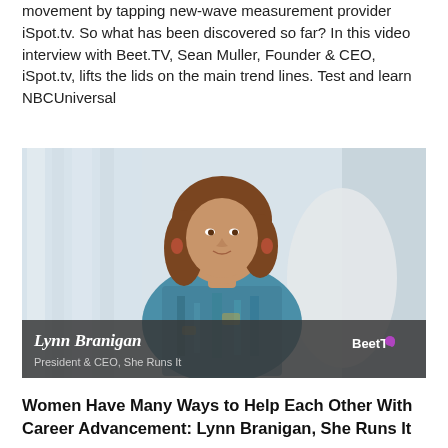movement by tapping new-wave measurement provider iSpot.tv. So what has been discovered so far? In this video interview with Beet.TV, Sean Muller, Founder & CEO, iSpot.tv, lifts the lids on the main trend lines. Test and learn NBCUniversal
[Figure (photo): Video thumbnail showing Lynn Branigan, President & CEO of She Runs It, seated indoors in a blue patterned top. Lower-third overlay with name and title, and BeetTV logo in bottom right.]
Women Have Many Ways to Help Each Other With Career Advancement: Lynn Branigan, She Runs It